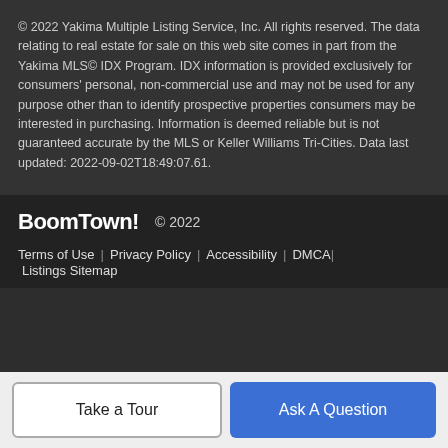© 2022 Yakima Multiple Listing Service, Inc. All rights reserved. The data relating to real estate for sale on this web site comes in part from the Yakima MLS© IDX Program. IDX information is provided exclusively for consumers' personal, non-commercial use and may not be used for any purpose other than to identify prospective properties consumers may be interested in purchasing. Information is deemed reliable but is not guaranteed accurate by the MLS or Keller Williams Tri-Cities. Data last updated: 2022-09-02T18:49:07.61.
BoomTown! © 2022
Terms of Use | Privacy Policy | Accessibility | DMCA | Listings Sitemap
Take a Tour
Ask A Question